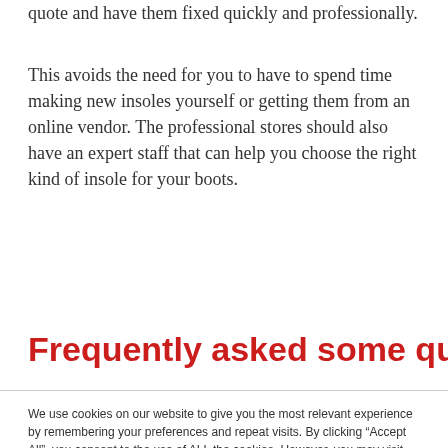quote and have them fixed quickly and professionally.
This avoids the need for you to have to spend time making new insoles yourself or getting them from an online vendor. The professional stores should also have an expert staff that can help you choose the right kind of insole for your boots.
Frequently asked some questions
We use cookies on our website to give you the most relevant experience by remembering your preferences and repeat visits. By clicking “Accept All”, you consent to the use of ALL the cookies. However, you may visit "Cookie Settings" to provide a controlled consent.